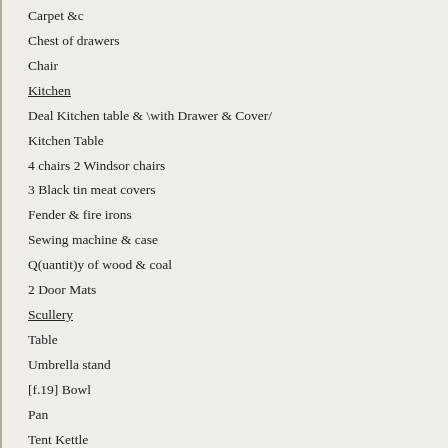Carpet &c
Chest of drawers
Chair
Kitchen
Deal Kitchen table & \with Drawer & Cover/
Kitchen Table
4 chairs 2 Windsor chairs
3 Black tin meat covers
Fender & fire irons
Sewing machine & case
Q(uantit)y of wood & coal
2 Door Mats
Scullery
Table
Umbrella stand
[f.19] Bowl
Pan
Tent Kettle
4 Saucepans
Boilers
Crockery ware